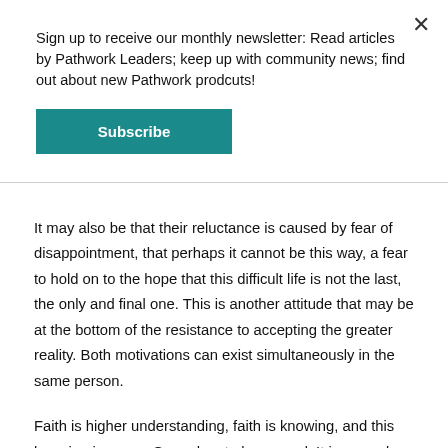Sign up to receive our monthly newsletter: Read articles by Pathwork Leaders; keep up with community news; find out about new Pathwork prodcuts!
Subscribe
It may also be that their reluctance is caused by fear of disappointment, that perhaps it cannot be this way, a fear to hold on to the hope that this difficult life is not the last, the only and final one. This is another attitude that may be at the bottom of the resistance to accepting the greater reality. Both motivations can exist simultaneously in the same person.
Faith is higher understanding, faith is knowing, and this knowing is grace. Grace has to be earned. It is earned when the person's goodwill becomes manifest and conquers the unconscious cross-currents which attempt to deny the truth. For if the person's